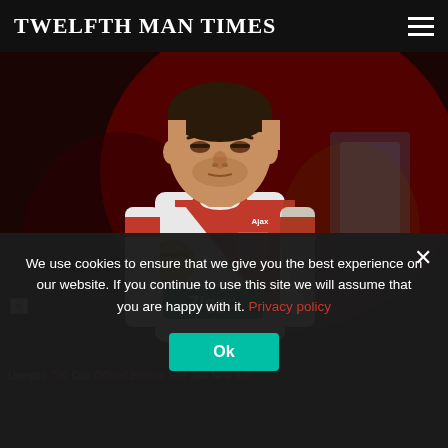TWELFTH MAN TIMES
[Figure (photo): Ajax footballer in white and red striped jersey with Ziggo sponsor, looking down, dark bokeh background]
x
We use cookies to ensure that we give you the best experience on our website. If you continue to use this site we will assume that you are happy with it. Privacy policy
Ok